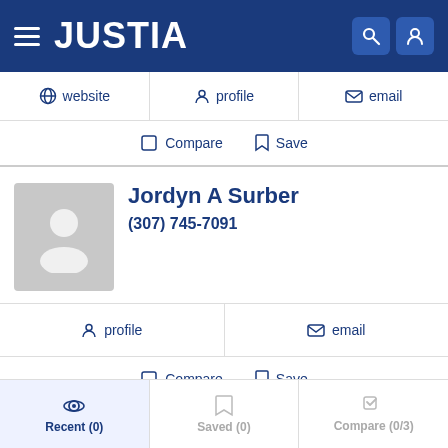JUSTIA
website | profile | email
Compare  Save
Jordyn A Surber
(307) 745-7091
profile | email
Compare  Save
ANETRA D.E. PARKS
Recent (0)  Saved (0)  Compare (0/3)